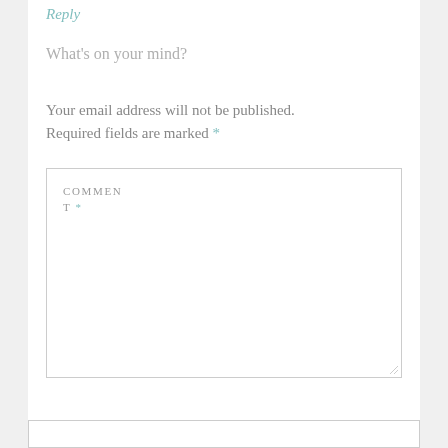Reply
What's on your mind?
Your email address will not be published. Required fields are marked *
COMMENT *